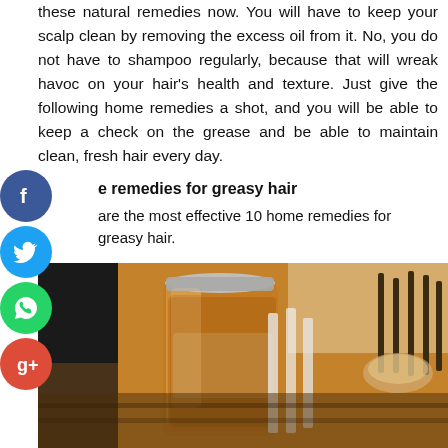these natural remedies now. You will have to keep your scalp clean by removing the excess oil from it. No, you do not have to shampoo regularly, because that will wreak havoc on your hair's health and texture. Just give the following home remedies a shot, and you will be able to keep a check on the grease and be able to maintain clean, fresh hair every day.
e remedies for greasy hair
are the most effective 10 home remedies for greasy hair.
ple Cider Vinegar
[Figure (photo): A glass mason jar filled with amber-colored liquid (apple cider vinegar), surrounded by blurred background items on a wooden surface.]